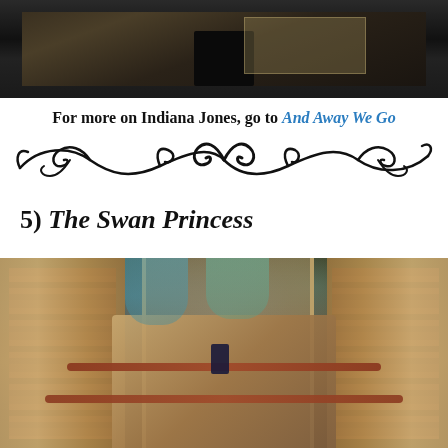[Figure (photo): Dark stage scene, likely from an Indiana Jones theatrical production or film still, with a silhouetted figure on stage and dramatic lighting against a dark background.]
For more on Indiana Jones, go to And Away We Go
[Figure (illustration): Decorative swirl/scroll divider ornament in black.]
5) The Swan Princess
[Figure (photo): Animated scene from The Swan Princess showing a grand library interior with tall bookshelves, ornate columns, a curved staircase with red railing, and a small figure seated on the staircase landing.]